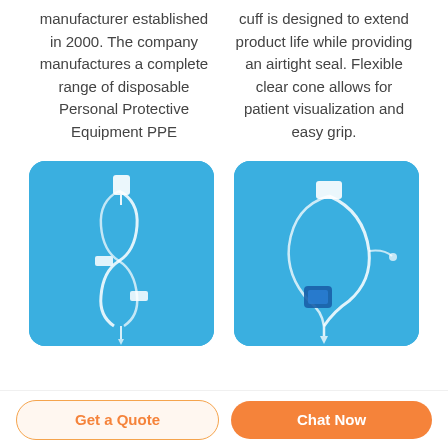manufacturer established in 2000. The company manufactures a complete range of disposable Personal Protective Equipment PPE
cuff is designed to extend product life while providing an airtight seal. Flexible clear cone allows for patient visualization and easy grip.
[Figure (photo): Medical IV infusion set / tubing with connectors on blue background]
[Figure (photo): Medical IV infusion set with needle and blue clamp on blue background]
Get a Quote
Chat Now